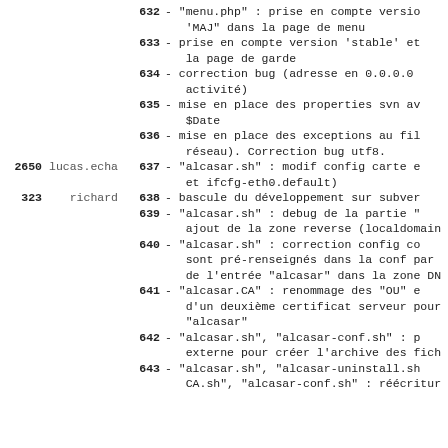632 - "menu.php" : prise en compte version 'MAJ" dans la page de menu
633 - prise en compte version 'stable' et la page de garde
634 - correction bug (adresse en 0.0.0.0 activité)
635 - mise en place des properties svn avec $Date
636 - mise en place des exceptions au filtrage réseau). Correction bug utf8.
2650 lucas.echa 637 - "alcasar.sh" : modif config carte e et ifcfg-eth0.default)
323 richard 638 - bascule du développement sur subver
639 - "alcasar.sh" : debug de la partie " ajout de la zone reverse (localdomain
640 - "alcasar.sh" : correction config co sont pré-renseignés dans la conf par de l'entrée "alcasar" dans la zone DN
641 - "alcasar.CA" : renommage des "OU" e d'un deuxième certificat serveur pour "alcasar"
642 - "alcasar.sh", "alcasar-conf.sh" : p externe pour créer l'archive des fich
643 - "alcasar.sh", "alcasar-uninstall.sh CA.sh", "alcasar-conf.sh" : réécritur